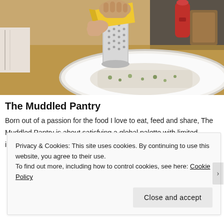[Figure (photo): Close-up photo of hands grating yellow cheese over a white plate of food (fish or meat with herbs/greens) using a metal box grater on a wooden table. A red pepper mill and wooden items visible in background.]
The Muddled Pantry
Born out of a passion for the food I love to eat, feed and share, The Muddled Pantry is about satisfying a global palette with limited ingredients
Privacy & Cookies: This site uses cookies. By continuing to use this website, you agree to their use.
To find out more, including how to control cookies, see here: Cookie Policy
Close and accept